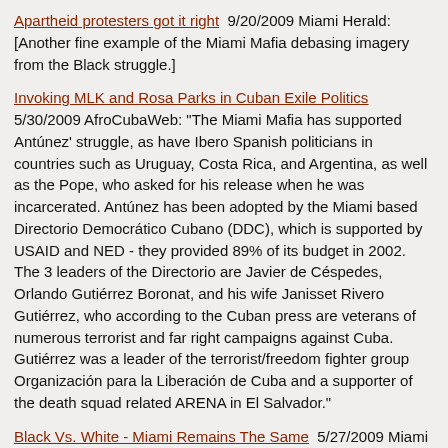Apartheid protesters got it right  9/20/2009 Miami Herald: [Another fine example of the Miami Mafia debasing imagery from the Black struggle.]
Invoking MLK and Rosa Parks in Cuban Exile Politics  5/30/2009 AfroCubaWeb: "The Miami Mafia has supported Antúnez' struggle, as have Ibero Spanish politicians in countries such as Uruguay, Costa Rica, and Argentina, as well as the Pope, who asked for his release when he was incarcerated. Antúnez has been adopted by the Miami based Directorio Democrático Cubano (DDC), which is supported by USAID and NED - they provided 89% of its budget in 2002. The 3 leaders of the Directorio are Javier de Céspedes, Orlando Gutiérrez Boronat, and his wife Janisset Rivero Gutiérrez, who according to the Cuban press are veterans of numerous terrorist and far right campaigns against Cuba. Gutiérrez was a leader of the terrorist/freedom fighter group Organización para la Liberación de Cuba and a supporter of the death squad related ARENA in El Salvador."
Black Vs. White - Miami Remains The Same  5/27/2009 Miami New Times: "As much as I hate it when politicians play the race card when they are facing possible criminal charges, I can't just dismiss it either in the case of Congressman. After all, Graffiti the city has...